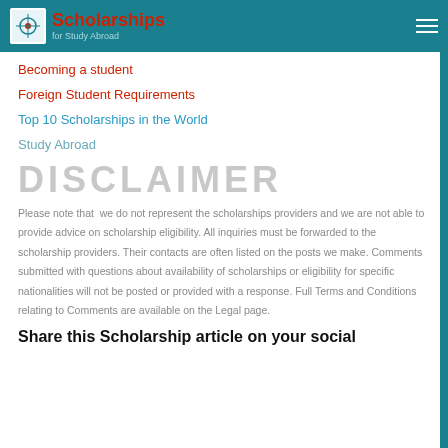Scholarships for Study Abroad
Becoming a student
Foreign Student Requirements
Top 10 Scholarships in the World
Study Abroad
DISCLAIMER
Please note that  we do not represent the scholarships providers and we are not able to provide advice on scholarship eligibility. All inquiries must be forwarded to the scholarship providers. Their contacts are often listed on the posts we make. Comments submitted with questions about availability of scholarships or eligibility for specific nationalities will not be posted or provided with a response. Full Terms and Conditions relating to Comments are available on the Legal page.
Share this Scholarship article on your social